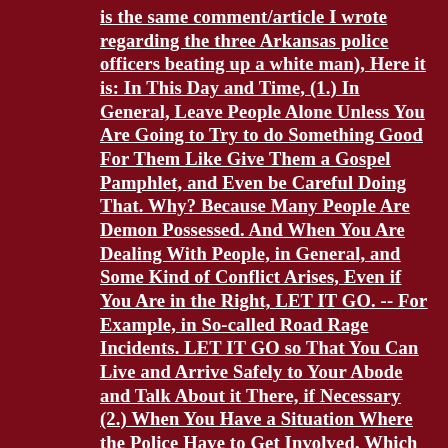is the same comment/article I wrote regarding the three Arkansas police officers beating up a white man), Here it is: In This Day and Time, (1.) In General, Leave People Alone Unless You Are Going to Try to do Something Good For Them Like Give Them a Gospel Pamphlet, and Even be Careful Doing That. Why? Because Many People Are Demon Possessed. And When You Are Dealing With People, in General, and Some Kind of Conflict Arises, Even if You Are in the Right, LET IT GO. -- For Example, in So-called Road Rage Incidents. LET IT GO so That You Can Live and Arrive Safely to Your Abode and Talk About it There, if Necessary (2.) When You Have a Situation Where the Police Have to Get Involved, Which is on the Increase Because Many People, in General, Are Demon Possessed, You Need to Understand Several Things: (A) Most Police Officers Are Called by God Similar to the Calling of a True Church Minister; In Fact, They Are Government MINISTERS Ordained by God to Keep Law and Order. (B) If the Police Have to Arrive on the Scene, They Are the Authority in that Situation no Matter How